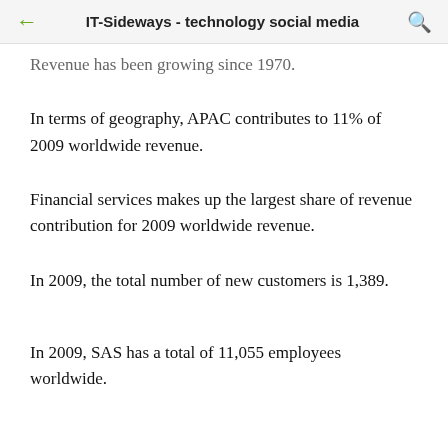IT-Sideways - technology social media
Revenue has been growing since 1970.
In terms of geography, APAC contributes to 11% of 2009 worldwide revenue.
Financial services makes up the largest share of revenue contribution for 2009 worldwide revenue.
In 2009, the total number of new customers is 1,389.
In 2009, SAS has a total of 11,055 employees worldwide.